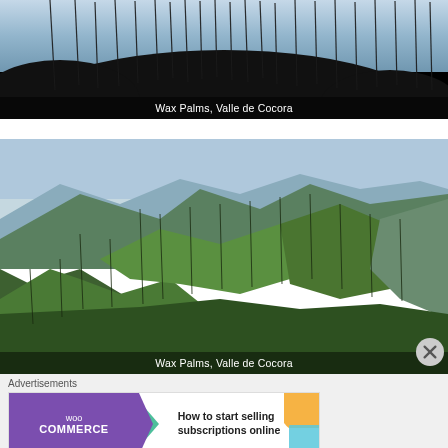[Figure (photo): Tall wax palm trees silhouetted against a light blue sky, dark hill silhouette in foreground, Valle de Cocora, Colombia]
Wax Palms, Valle de Cocora
[Figure (photo): Green mountain valley with tall wax palm trees scattered across lush hillsides, Valle de Cocora, Colombia. Blue sky and distant mountains in background.]
Wax Palms, Valle de Cocora
Advertisements
[Figure (screenshot): WooCommerce advertisement banner: purple left section with WooCommerce logo and arrow graphic, right section with orange and blue decorative shapes and text 'How to start selling subscriptions online']